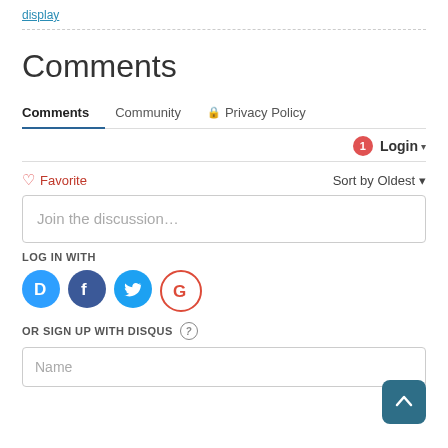display
Comments
Comments   Community   🔒 Privacy Policy
1  Login ▾
♡ Favorite   Sort by Oldest ▾
Join the discussion…
LOG IN WITH
[Figure (screenshot): Social login icons: Disqus (D), Facebook (f), Twitter bird, Google (G)]
OR SIGN UP WITH DISQUS ?
Name